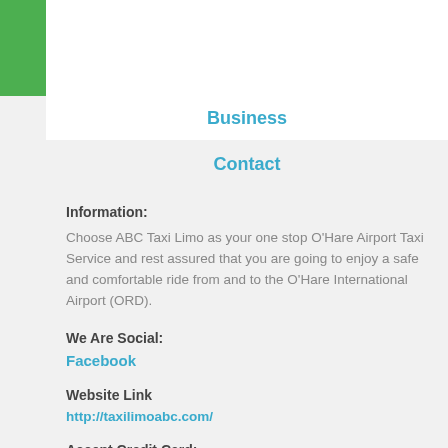Business
Contact
Information:
Choose ABC Taxi Limo as your one stop O'Hare Airport Taxi Service and rest assured that you are going to enjoy a safe and comfortable ride from and to the O'Hare International Airport (ORD).
We Are Social:
Facebook
Website Link
http://taxilimoabc.com/
Accept Credit Card: